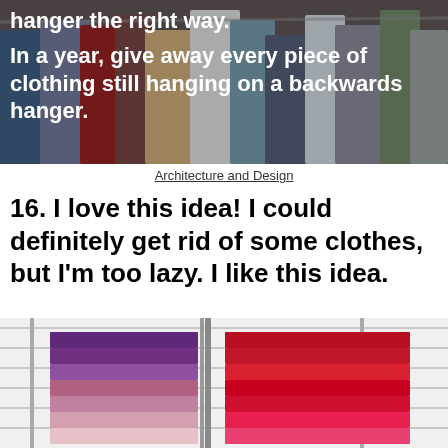[Figure (photo): Crowded clothing rack with hangers holding many garments of various colors. White bold text overlaid reads: 'hanger the right way.' and 'In a year, give away every piece of clothing still hanging on a backwards hanger.']
Architecture and Design
16. I love this idea! I could definitely get rid of some clothes, but I'm too lazy. I like this idea.
[Figure (photo): Neatly folded clothes stacked on wire shelving. Left stack shows purple to pink gradient folded sweaters. Right stack shows red to pink folded sweaters on a white shelf unit.]